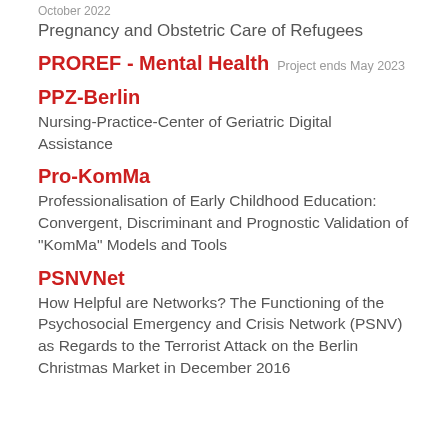October 2022
Pregnancy and Obstetric Care of Refugees
PROREF - Mental Health  Project ends May 2023
PPZ-Berlin
Nursing-Practice-Center of Geriatric Digital Assistance
Pro-KomMa
Professionalisation of Early Childhood Education: Convergent, Discriminant and Prognostic Validation of "KomMa" Models and Tools
PSNVNet
How Helpful are Networks? The Functioning of the Psychosocial Emergency and Crisis Network (PSNV) as Regards to the Terrorist Attack on the Berlin Christmas Market in December 2016